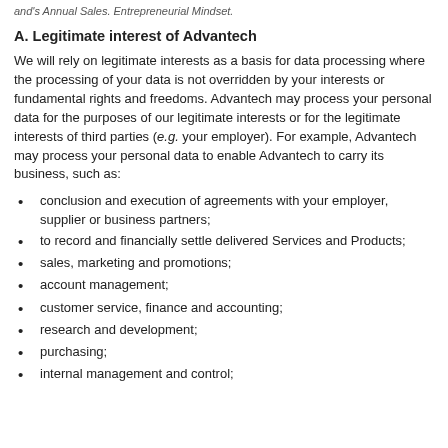and's Annual Sales. Entrepreneurial Mindset.
A. Legitimate interest of Advantech
We will rely on legitimate interests as a basis for data processing where the processing of your data is not overridden by your interests or fundamental rights and freedoms. Advantech may process your personal data for the purposes of our legitimate interests or for the legitimate interests of third parties (e.g. your employer). For example, Advantech may process your personal data to enable Advantech to carry its business, such as:
conclusion and execution of agreements with your employer, supplier or business partners;
to record and financially settle delivered Services and Products;
sales, marketing and promotions;
account management;
customer service, finance and accounting;
research and development;
purchasing;
internal management and control;